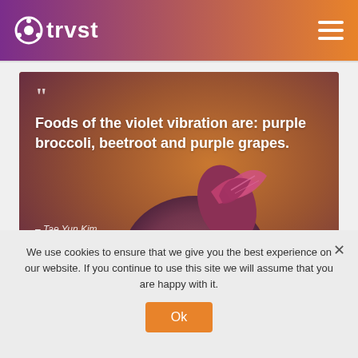trvst
[Figure (photo): Close-up photo of beetroot with purple-pink leaves on a warm orange-brown blurred background, with a quote overlay reading: Foods of the violet vibration are: purple broccoli, beetroot and purple grapes. — Tae Yun Kim]
We use cookies to ensure that we give you the best experience on our website. If you continue to use this site we will assume that you are happy with it.